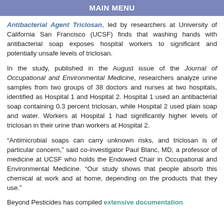MAIN MENU
Antibacterial Agent Triclosan, led by researchers at University of California San Francisco (UCSF) finds that washing hands with antibacterial soap exposes hospital workers to significant and potentially unsafe levels of triclosan.
In the study, published in the August issue of the Journal of Occupational and Environmental Medicine, researchers analyze urine samples from two groups of 38 doctors and nurses at two hospitals, identified as Hospital 1 and Hospital 2. Hospital 1 used an antibacterial soap containing 0.3 percent triclosan, while Hospital 2 used plain soap and water. Workers at Hospital 1 had significantly higher levels of triclosan in their urine than workers at Hospital 2.
“Antimicrobial soaps can carry unknown risks, and triclosan is of particular concern,” said co-investigator Paul Blanc, MD, a professor of medicine at UCSF who holds the Endowed Chair in Occupational and Environmental Medicine. “Our study shows that people absorb this chemical at work and at home, depending on the products that they use.”
Beyond Pesticides has compiled extensive documentation